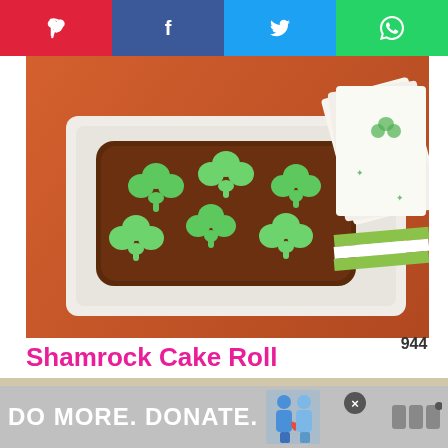[Figure (screenshot): Social sharing bar with Pinterest (red), Facebook (dark blue), Twitter (light blue), WhatsApp (green) buttons]
[Figure (photo): Shamrock Cake Roll — a chocolate roll cake decorated with green shamrock shapes, on a white serving plate, on an orange surface, with patterned napkins beside it]
Shamrock Cake Roll
[Figure (screenshot): Purple circular heart/like button with count 944 below it, and a share button]
[Figure (photo): Green shamrock-shaped sugar cookies with bright green royal icing on a white plate, with 'COOKIES' text overlay]
[Figure (infographic): What's Next panel showing Saint Patrick's Day Rainbow thumbnail and label]
[Figure (photo): Ad banner: DO MORE. DONATE. with figures of people and a logo]